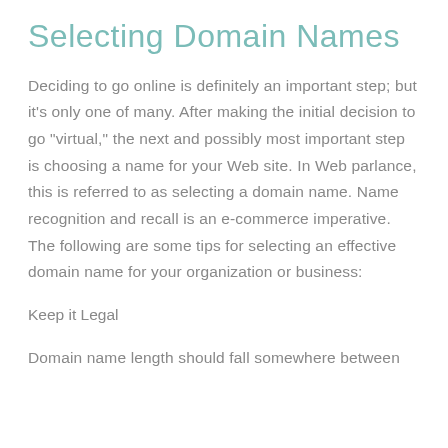Selecting Domain Names
Deciding to go online is definitely an important step; but it's only one of many. After making the initial decision to go "virtual," the next and possibly most important step is choosing a name for your Web site. In Web parlance, this is referred to as selecting a domain name. Name recognition and recall is an e-commerce imperative. The following are some tips for selecting an effective domain name for your organization or business:
Keep it Legal
Domain name length should fall somewhere between